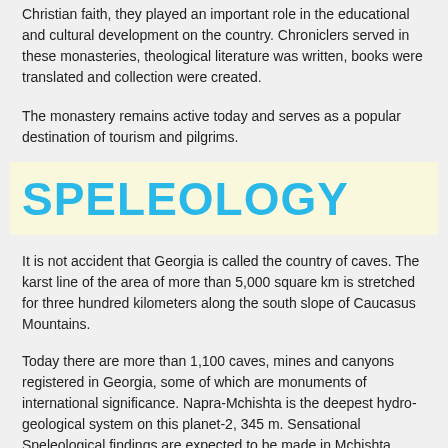Christian faith, they played an important role in the educational and cultural development on the country. Chroniclers served in these monasteries, theological literature was written, books were translated and collection were created.
The monastery remains active today and serves as a popular destination of tourism and pilgrims.
SPELEOLOGY
It is not accident that Georgia is called the country of caves. The karst line of the area of more than 5,000 square km is stretched for three hundred kilometers along the south slope of Caucasus Mountains.
Today there are more than 1,100 caves, mines and canyons registered in Georgia, some of which are monuments of international significance. Napra-Mchishta is the deepest hydro-geological system on this planet-2, 345 m. Sensational Speleological findings are expected to be made in Mchishta basin! Pantiukhin canyon is on the third place in the world-1, 508m. Tovliani, Iliukhini and other canyons are more than 1, 000 m. Long.